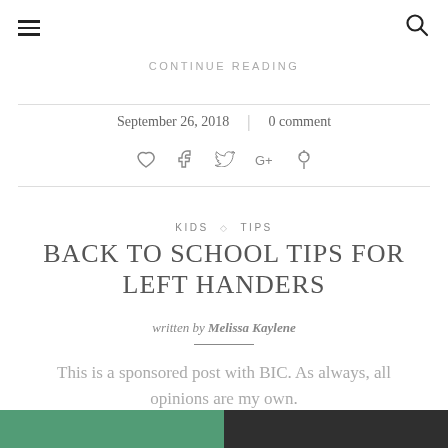☰  🔍
CONTINUE READING
September 26, 2018  |  0 comment
[Figure (other): Social share icons: heart, facebook, twitter, google+, pinterest]
KIDS ◇ TIPS
BACK TO SCHOOL TIPS FOR LEFT HANDERS
written by Melissa Kaylene
This is a sponsored post with BIC. As always, all opinions are my own.
[Figure (photo): Bottom partial image, green and dark tones]